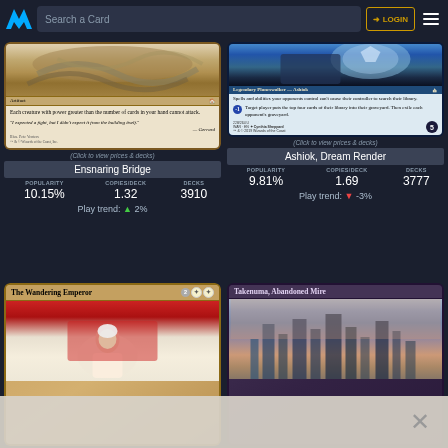Search a Card | LOGIN
[Figure (screenshot): Ensnaring Bridge Magic card — Artifact type, showing tentacle art, text: Each creature with power greater than the number of cards in your hand cannot attack. Flavor: 'I expected a fight, but I didn't expect it from the building itself.' — Gerrard. Illus. Pete Venters]
(Click to view prices & decks)
Ensnaring Bridge
| POPULARITY | COPIES/DECK | DECKS |
| --- | --- | --- |
| 10.15% | 1.32 | 3910 |
Play trend: ▲ 2%
[Figure (screenshot): Ashiok, Dream Render Magic card — Legendary Planeswalker — Ashiok. Text: Spells and abilities your opponents control can't cause their controller to search their library. -1: Target player puts the top four cards of their library into their graveyard. Then exile each opponent's graveyard. Loyalty: 5. Set: WAR · EN #228/264]
(Click to view prices & decks)
Ashiok, Dream Render
| POPULARITY | COPIES/DECK | DECKS |
| --- | --- | --- |
| 9.81% | 1.69 | 3777 |
Play trend: ▼ -3%
[Figure (screenshot): The Wandering Emperor Magic card — partially visible at bottom, showing card name and art with a white-haired warrior in red and white]
[Figure (screenshot): Takenuma, Abandoned Mire Magic card — partially visible at bottom, showing card name and purple/pink city art]